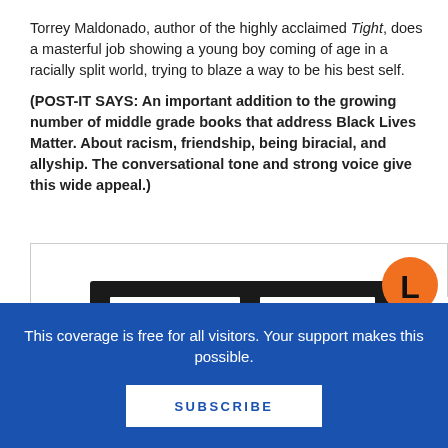Torrey Maldonado, author of the highly acclaimed Tight, does a masterful job showing a young boy coming of age in a racially split world, trying to blaze a way to be his best self.
(POST-IT SAYS: An important addition to the growing number of middle grade books that address Black Lives Matter. About racism, friendship, being biracial, and allyship. The conversational tone and strong voice give this wide appeal.)
[Figure (photo): Partial book cover image showing a dark/black background with white label strips reading KIM HYUN SOOK, KO HYUNG-JU, RYAN ES, and an orange circle with a black letter L]
This coverage is free for all visitors. Your support makes this possible.
SUBSCRIBE